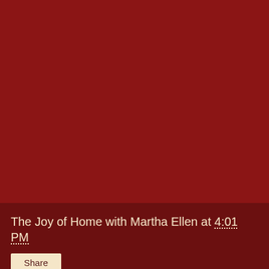[Figure (other): Large dark red background filling the upper portion of the page]
The Joy of Home with Martha Ellen at 4:01 PM
Share